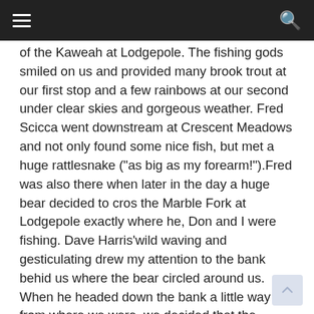☰ [menu] [search]
of the Kaweah at Lodgepole. The fishing gods smiled on us and provided many brook trout at our first stop and a few rainbows at our second under clear skies and gorgeous weather. Fred Scicca went downstream at Crescent Meadows and not only found some nice fish, but met a huge rattlesnake ("as big as my forearm!").Fred was also there when later in the day a huge bear decided to cros the Marble Fork at Lodgepole exactly where he, Don and I were fishing. Dave Harris'wild waving and gesticulating drew my attention to the bank behid us where the bear circled around us. When he headed down the bank a little way from where we were, we decided that the fishing might be better a little upstream and vacated the site where the bear crossed a few moments later. He must have weighed